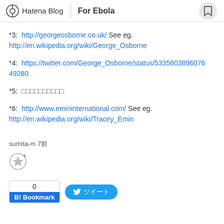Hatena Blog | For Ebola
*3:  http://georgeosborne.co.uk/ See eg. http://en.wikipedia.org/wiki/George_Osborne
*4:  https://twitter.com/George_Osborne/status/533560389607649280
*5:  □□□□□□□□□□
*6:  http://www.emininternational.com/ See eg. http://en.wikipedia.org/wiki/Tracey_Emin
sumita-m 7前
0  B! Bookmark  ツイート